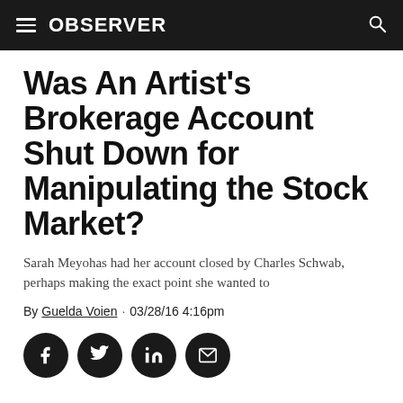OBSERVER
Was An Artist's Brokerage Account Shut Down for Manipulating the Stock Market?
Sarah Meyohas had her account closed by Charles Schwab, perhaps making the exact point she wanted to
By Guelda Voien · 03/28/16 4:16pm
[Figure (other): Social sharing buttons: Facebook, Twitter, LinkedIn, Email]